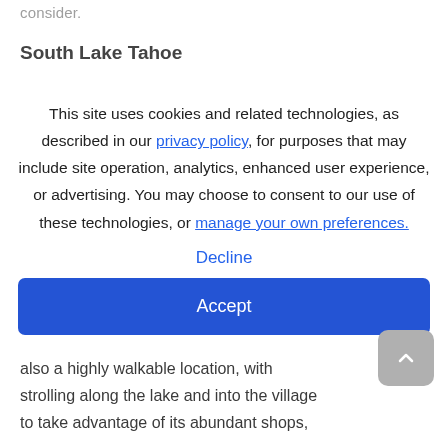consider.
South Lake Tahoe
This site uses cookies and related technologies, as described in our privacy policy, for purposes that may include site operation, analytics, enhanced user experience, or advertising. You may choose to consent to our use of these technologies, or manage your own preferences.
Decline
Accept
also a highly walkable location, with strolling along the lake and into the village to take advantage of its abundant shops,